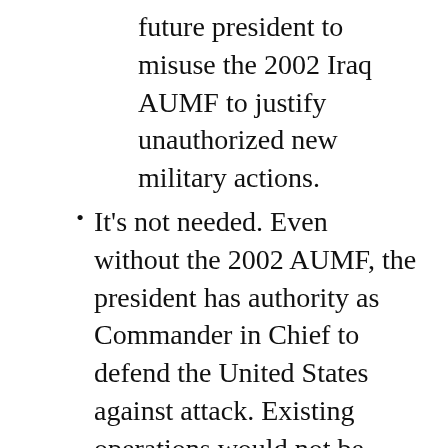future president to misuse the 2002 Iraq AUMF to justify unauthorized new military actions.
It's not needed. Even without the 2002 AUMF, the president has authority as Commander in Chief to defend the United States against attack. Existing operations would not be affected by its repeal.
It is no longer relevant. The Saddam Hussein regime was overthrown in 2003 and a formal end to the U.S. mission in Iraq was declared at the end of 2011. The law that authorized this long over war